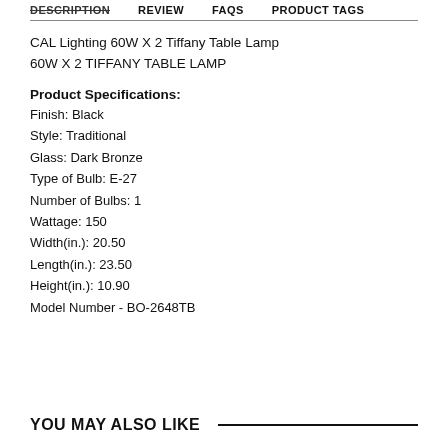DESCRIPTION   REVIEW   FAQS   PRODUCT TAGS
CAL Lighting 60W X 2 Tiffany Table Lamp
60W X 2 TIFFANY TABLE LAMP
Product Specifications:
Finish: Black
Style: Traditional
Glass: Dark Bronze
Type of Bulb: E-27
Number of Bulbs: 1
Wattage: 150
Width(in.): 20.50
Length(in.): 23.50
Height(in.): 10.90
Model Number - BO-2648TB
YOU MAY ALSO LIKE